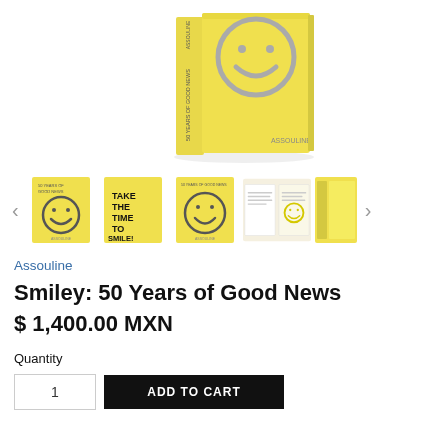[Figure (photo): Main product image of a yellow hardcover book titled 'Smiley: 50 Years of Good News' by Assouline, showing the book spine and front cover with a smiley face design on a white background.]
[Figure (photo): Thumbnail gallery showing 5 product images: front cover with smiley face, 'Take the Time to Smile!' text cover, another smiley face cover, open book spread, and a side/spine view.]
Assouline
Smiley: 50 Years of Good News
$ 1,400.00 MXN
Quantity